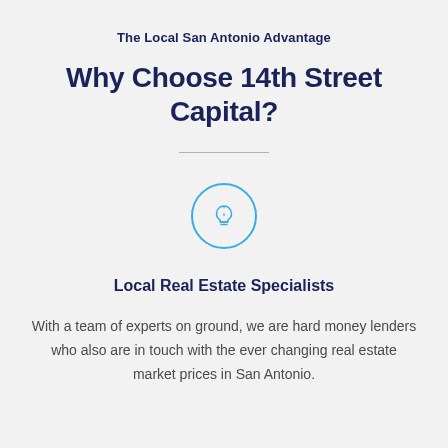The Local San Antonio Advantage
Why Choose 14th Street Capital?
[Figure (illustration): A circular icon with a light bulb symbol in teal/blue color]
Local Real Estate Specialists
With a team of experts on ground, we are hard money lenders who also are in touch with the ever changing real estate market prices in San Antonio.